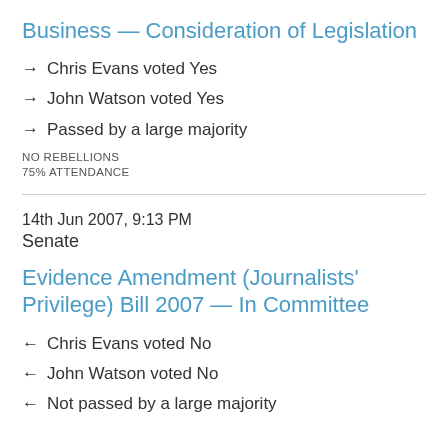Business — Consideration of Legislation
→ Chris Evans voted Yes
→ John Watson voted Yes
→ Passed by a large majority
NO REBELLIONS
75% ATTENDANCE
14th Jun 2007, 9:13 PM
Senate
Evidence Amendment (Journalists' Privilege) Bill 2007 — In Committee
← Chris Evans voted No
← John Watson voted No
← Not passed by a large majority